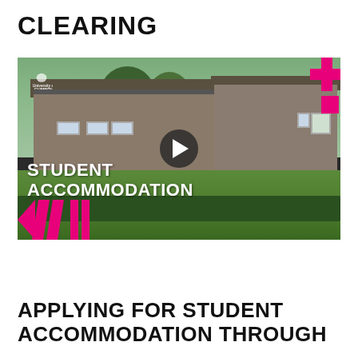CLEARING
[Figure (screenshot): Video thumbnail showing University of Cumbria student accommodation — stone cottages with green lawn and hedgerow, overlaid with bold white text reading 'STUDENT ACCOMMODATION', pink graphic design elements in corners, and a play button in the centre.]
APPLYING FOR STUDENT ACCOMMODATION THROUGH